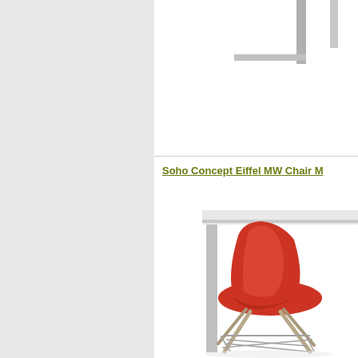[Figure (photo): Partial view of a white table leg/frame structure on white background (top cropped)]
Soho Concept Eiffel MW Chair M
[Figure (photo): Red modern Eiffel-style chair with metallic wire/wood legs next to a white table, product photo on white background]